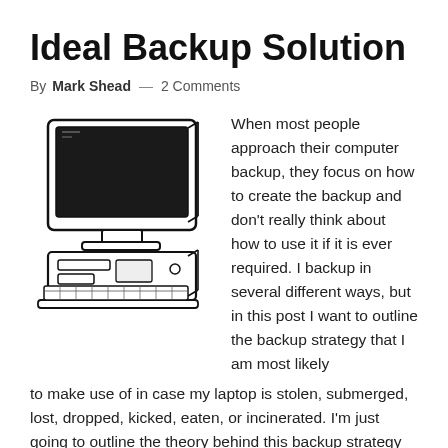Ideal Backup Solution
By Mark Shead — 2 Comments
[Figure (illustration): Black and white line drawing of a vintage desktop computer with CRT monitor, tower/desktop unit, and keyboard]
When most people approach their computer backup, they focus on how to create the backup and don't really think about how to use it if it is ever required. I backup in several different ways, but in this post I want to outline the backup strategy that I am most likely to make use of in case my laptop is stolen, submerged, lost, dropped, kicked, eaten, or incinerated. I'm just going to outline the theory behind this backup strategy